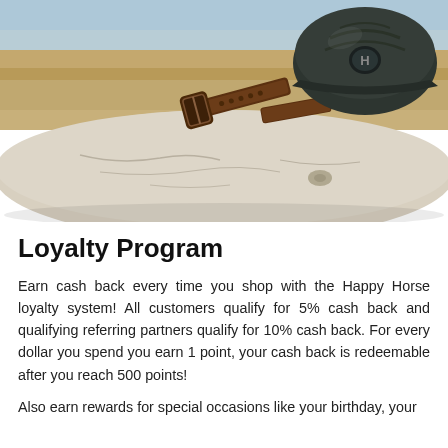[Figure (photo): Photo of an equestrian helmet (dark green/black) and a brown leather belt resting on a weathered driftwood log, with a dry golden landscape in the background.]
Loyalty Program
Earn cash back every time you shop with the Happy Horse loyalty system! All customers qualify for 5% cash back and qualifying referring partners qualify for 10% cash back. For every dollar you spend you earn 1 point, your cash back is redeemable after you reach 500 points!
Also earn rewards for special occasions like your birthday, your